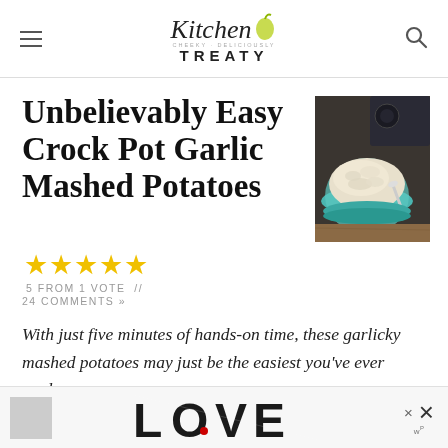Kitchen Treaty
Unbelievably Easy Crock Pot Garlic Mashed Potatoes
[Figure (photo): Photo of garlic mashed potatoes in a teal bowl with a spoon, with a slow cooker in background]
5 FROM 1 VOTE // 24 COMMENTS »
With just five minutes of hands-on time, these garlicky mashed potatoes may just be the easiest you've ever made.
[Figure (other): Advertisement banner at bottom of page with LOVE text art and close buttons]